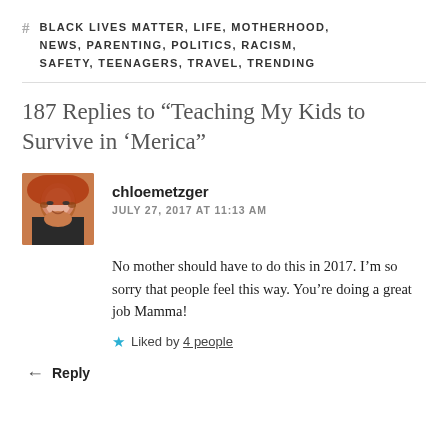# BLACK LIVES MATTER, LIFE, MOTHERHOOD, NEWS, PARENTING, POLITICS, RACISM, SAFETY, TEENAGERS, TRAVEL, TRENDING
187 Replies to “Teaching My Kids to Survive in ‘Merica”
chloemetzger
JULY 27, 2017 AT 11:13 AM
No mother should have to do this in 2017. I’m so sorry that people feel this way. You’re doing a great job Mamma!
Liked by 4 people
Reply